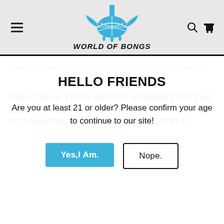WORLD OF BONGS
HELLO FRIENDS
Are you at least 21 or older? Please confirm your age to continue to our site!
Yes,I Am.   Nope.
That robot piece and the green goddes I made for champes.
WHAT WAS YOUR WORST MOMENT ON THE PATH TO “MAKING IT” AS A GLASS ARTIST?